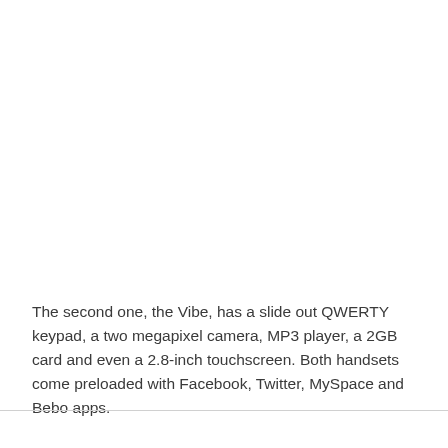The second one, the Vibe, has a slide out QWERTY keypad, a two megapixel camera, MP3 player, a 2GB card and even a 2.8-inch touchscreen. Both handsets come preloaded with Facebook, Twitter, MySpace and Bebo apps.